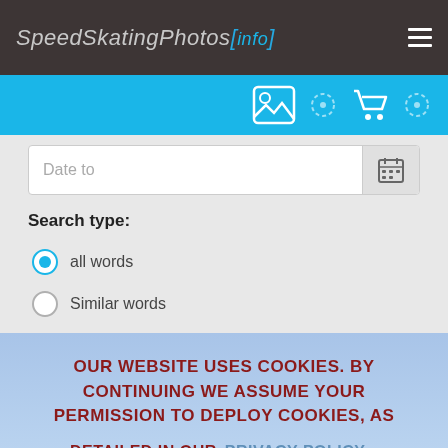SpeedSkatingPhotos[.info]
[Figure (screenshot): Navigation bar with image icon, settings icon, cart icon, and settings icon on a cyan/blue background]
Date to
Search type:
all words (selected radio button)
Similar words
OUR WEBSITE USES COOKIES. BY CONTINUING WE ASSUME YOUR PERMISSION TO DEPLOY COOKIES, AS DETAILED IN OUR PRIVACY POLICY. OK